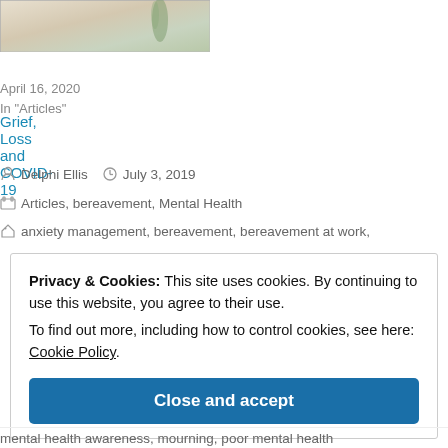[Figure (photo): Thumbnail image of article, showing light colored background with plant/nature element]
Grief, Loss and COVID-19
April 16, 2020
In "Articles"
Delphi Ellis   July 3, 2019
Articles, bereavement, Mental Health
anxiety management, bereavement, bereavement at work,
Privacy & Cookies: This site uses cookies. By continuing to use this website, you agree to their use.
To find out more, including how to control cookies, see here: Cookie Policy
Close and accept
mental health awareness, mourning, poor mental health